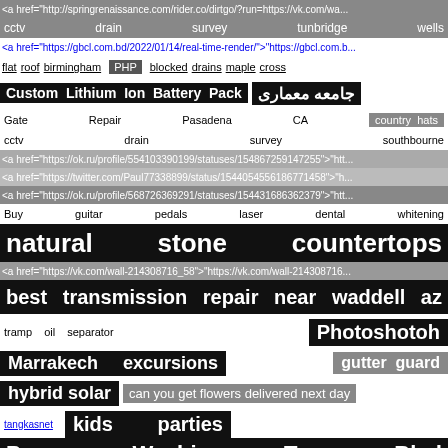<a href="http://springrenaissance.com/rider.co/dirtgo/?run=https://vk.com/wa...
cctv drain survey tunbridge wells
<a href="https://gbcl.com.bd/2022/01/14/real-time-render/">"https://gbcl.com.b...
flat roof birmingham PHP blocked drains maple cross
Custom Lithium Ion Battery Pack جامعه معماری
Gate Repair Pasadena CA country hats
cctv drain survey southbourne
<a href="https://ok.ru/profile/554103390199/statuses/154867259147255">"htt...
<a href="https://twitter.com/Paul77338899/status/1544054556186771458">"h...
<a href="https://ok.ru/profile/568726369291/statuses/154431686362379">"htt...
Buy guitar pedals laser dental whitening
natural stone countertops
<a href="https://vk.com/wall-214308716_58">"https://vk.com/wall-214308716...
best transmission repair near waddell az
tramp oil separator Photoshotoh
Marrakech excursions gutter guard
hybrid solar can you get flowers delivered next day
tangkasnet kids parties
Power Washing Tyne Blvd
<a href="http://login.libproxy.aalto.fi/login?url=https://twitter.com/Paul77338899...
KS Pod convert cm to inches
<a href="https://twitter.com/Aleksan15248129/status/150039914278644941...
■ ■
<a href="http://ok.ru/profile/598936061319/statuses/152760937094...